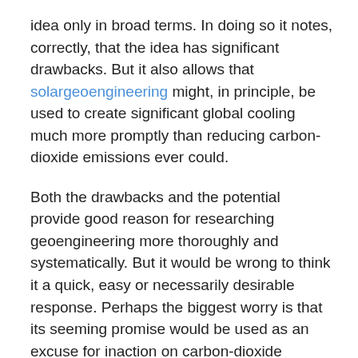idea only in broad terms. In doing so it notes, correctly, that the idea has significant drawbacks. But it also allows that solargeoengineering might, in principle, be used to create significant global cooling much more promptly than reducing carbon-dioxide emissions ever could.
Both the drawbacks and the potential provide good reason for researching geoengineering more thoroughly and systematically. But it would be wrong to think it a quick, easy or necessarily desirable response. Perhaps the biggest worry is that its seeming promise would be used as an excuse for inaction on carbon-dioxide emissions. A world where geoengineering was used simply to cover up, increasingly imperfectly, the effects of ever higher greenhouse-gas levels would be a fearsomely unstable one.
A more palatable approach to offsetting the diminishing